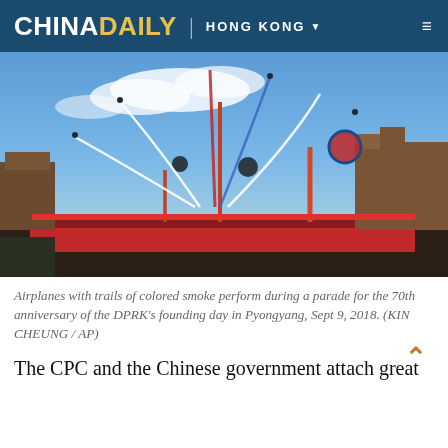CHINA DAILY | HONG KONG ▼ ☰
[Figure (photo): Airplanes performing flyover with colored smoke trails (red, white, blue) over a military parade square in Pyongyang. Large crowds visible below. Buildings and balloons visible in background against a blue sky with clouds.]
Airplanes with trails of colored smoke perform during a parade for the 70th anniversary of the DPRK's founding day in Pyongyang, Sept 9, 2018. (KIN CHEUNG / AP)
The CPC and the Chinese government attach great